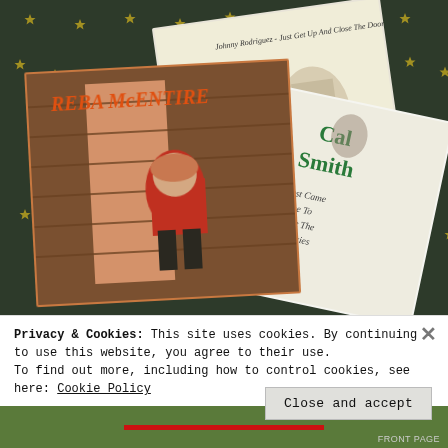[Figure (photo): Photo of vinyl record album covers laid on a dark fabric with gold stars pattern. Visible albums: Reba McEntire album (woman in red sitting on a porch), Cal Smith 'I Just Came Home To Count The Memories', and Johnny Rodriguez 'Just Get Up And Close The Door'.]
Privacy & Cookies: This site uses cookies. By continuing to use this website, you agree to their use.
To find out more, including how to control cookies, see here: Cookie Policy
Close and accept